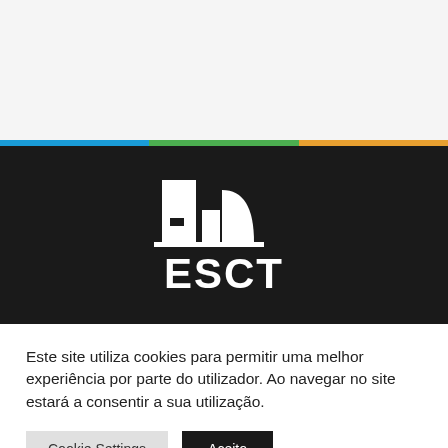[Figure (logo): ESCT institution logo — white building/architecture icon above bold white text 'ESCT' on dark background]
Este site utiliza cookies para permitir uma melhor experiência por parte do utilizador. Ao navegar no site estará a consentir a sua utilização.
Cookie Settings
Aceito